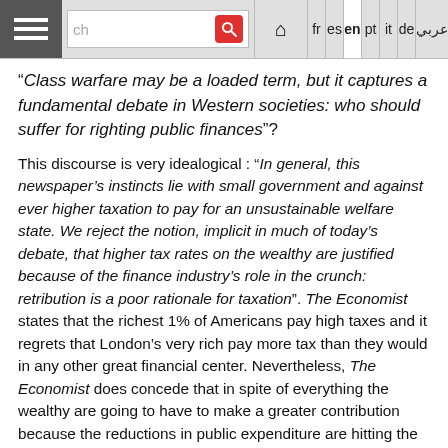Navigation bar with hamburger menu, search box, home icon, and language tabs: fr, es, en (active), pt, it, de, Arabic
“Class warfare may be a loaded term, but it captures a fundamental debate in Western societies: who should suffer for righting public finances”?
This discourse is very idealogical : “In general, this newspaper’s instincts lie with small government and against ever higher taxation to pay for an unsustainable welfare state. We reject the notion, implicit in much of today’s debate, that higher tax rates on the wealthy are justified because of the finance industry’s role in the crunch: retribution is a poor rationale for taxation”. The Economist states that the richest 1% of Americans pay high taxes and it regrets that London’s very rich pay more tax than they would in any other great financial center. Nevertheless, The Economist does concede that in spite of everything the wealthy are going to have to make a greater contribution because the reductions in public expenditure are hitting the less well-off more than the well-off. The...